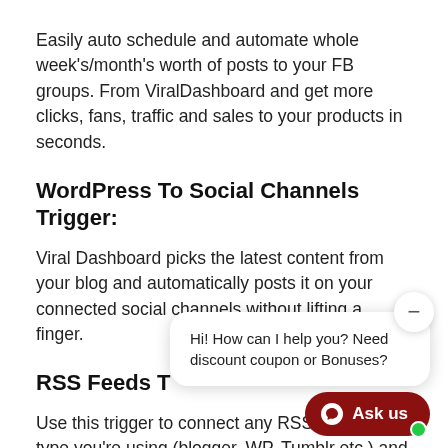Easily auto schedule and automate whole week's/month's worth of posts to your FB groups. From ViralDashboard and get more clicks, fans, traffic and sales to your products in seconds.
WordPress To Social Channels Trigger:
Viral Dashboard picks the latest content from your blog and automatically posts it on your connected social channels without lifting a finger.
RSS Feeds T
Use this trigger to connect any RSS any blog type you're using (blogger, WP, Tumblr etc.) and auto-schedule and publish to your
Hi! How can I help you? Need discount coupon or Bonuses?
Ask us